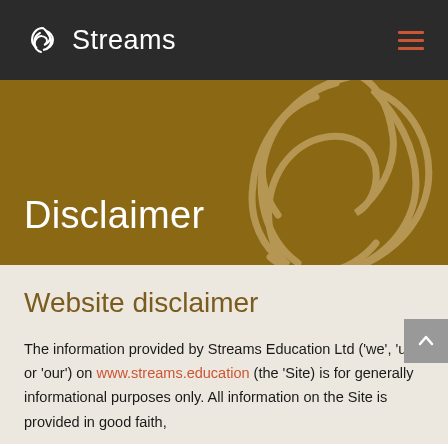Streams
Disclaimer
Website disclaimer
The information provided by Streams Education Ltd ('we', 'us' or 'our') on www.streams.education (the 'Site) is for generally informational purposes only. All information on the Site is provided in good faith,